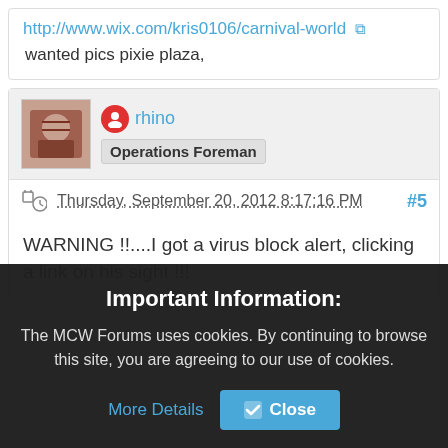http://www.wix.com/kris0106/carnival-world
wanted pics pixie plaza,
rhino
Operations Foreman
Thursday, September 20, 2012 8:17:16 PM #5
WARNING !!....I got a virus block alert, clicking a link on his sight !!!
Important Information:
The MCW Forums uses cookies. By continuing to browse this site, you are agreeing to our use of cookies. More Details Close